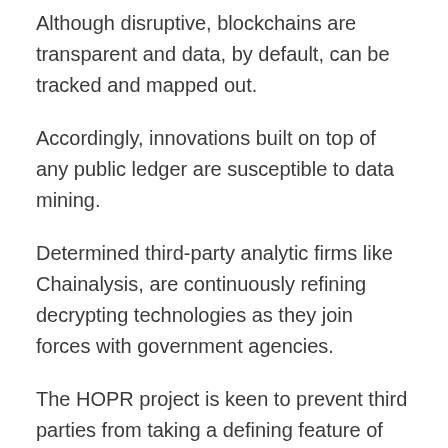Although disruptive, blockchains are transparent and data, by default, can be tracked and mapped out.
Accordingly, innovations built on top of any public ledger are susceptible to data mining.
Determined third-party analytic firms like Chainalysis, are continuously refining decrypting technologies as they join forces with government agencies.
The HOPR project is keen to prevent third parties from taking a defining feature of blockchain — transparency — and turning it into a weapon.
As a result, the HOPR protocol is adopting a two-prong approach to achieve their privacy-preservation